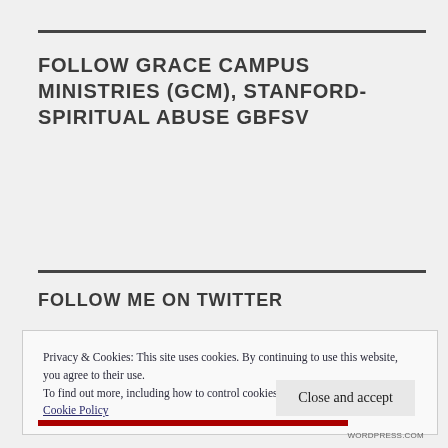FOLLOW GRACE CAMPUS MINISTRIES (GCM), STANFORD-SPIRITUAL ABUSE GBFSV
FOLLOW ME ON TWITTER
Privacy & Cookies: This site uses cookies. By continuing to use this website, you agree to their use.
To find out more, including how to control cookies, see here: Cookie Policy
Close and accept